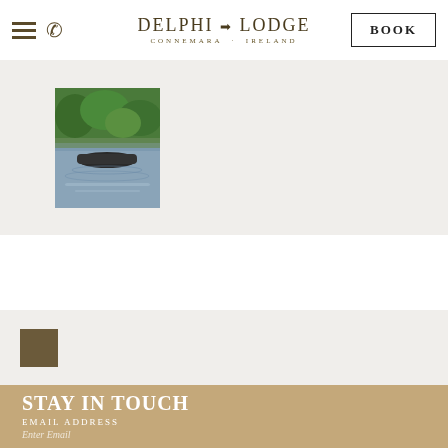DELPHI → LODGE  CONNEMARA · IRELAND  [hamburger menu] [phone icon] [BOOK button]
[Figure (photo): Photo of a lake scene with a dark rowing boat at the water's edge, green trees reflected in the water, reeds visible along the bank]
[Figure (other): Brown/tan square decorative element on a light gray background section]
STAY IN TOUCH
EMAIL ADDRESS
Enter Email